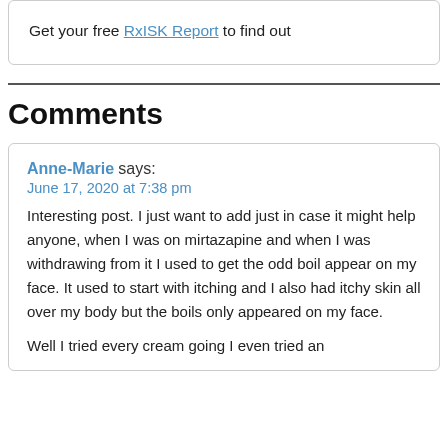Get your free RxISK Report to find out
Comments
Anne-Marie says:
June 17, 2020 at 7:38 pm
Interesting post. I just want to add just in case it might help anyone, when I was on mirtazapine and when I was withdrawing from it I used to get the odd boil appear on my face. It used to start with itching and I also had itchy skin all over my body but the boils only appeared on my face.
Well I tried every cream going I even tried an